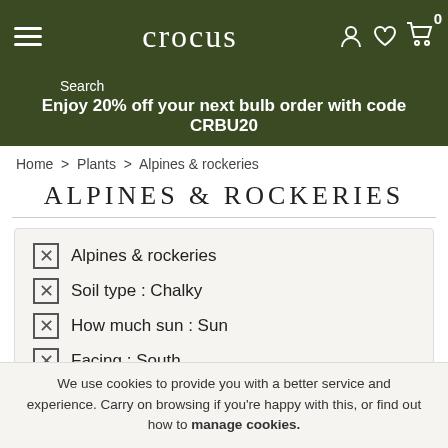crocus
Enjoy 20% off your next bulb order with code CRBU20
Home > Plants > Alpines & rockeries
ALPINES & ROCKERIES
Alpines & rockeries
Soil type : Chalky
How much sun : Sun
Facing : South
Flowering month : February
Flower colour : Blue
Sowing month outside : September
We use cookies to provide you with a better service and experience. Carry on browsing if you're happy with this, or find out how to manage cookies.